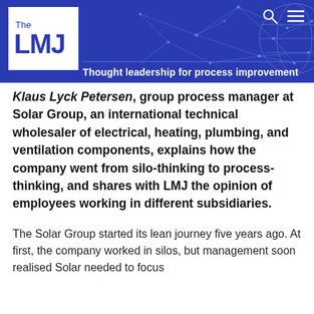The LMJ — Thought leadership for process improvement
Klaus Lyck Petersen, group process manager at Solar Group, an international technical wholesaler of electrical, heating, plumbing, and ventilation components, explains how the company went from silo-thinking to process-thinking, and shares with LMJ the opinion of employees working in different subsidiaries.
The Solar Group started its lean journey five years ago. At first, the company worked in silos, but management soon realised Solar needed to focus